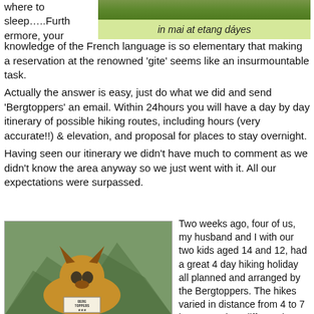[Figure (photo): Landscape photo with green hillside/nature scene visible at top]
in mai at etang dáyes
where to sleep…..Furthermore, your knowledge of the French language is so elementary that making a reservation at the renowned 'gite' seems like an insurmountable task.
Actually the answer is easy, just do what we did and send 'Bergtoppers' an email. Within 24hours you will have a day by day itinerary of possible hiking routes, including hours (very accurate!!) & elevation, and proposal for places to stay overnight.
Having seen our itinerary we didn't have much to comment as we didn't know the area anyway so we just went with it. All our expectations were surpassed.
[Figure (photo): Photo of a German Shepherd dog in front of a mountain landscape, holding a sign that reads BERG TOPPERS]
Two weeks ago, four of us, my husband and I with our two kids aged 14 and 12, had a great 4 day hiking holiday all planned and arranged by the Bergtoppers. The hikes varied in distance from 4 to 7 hours , and on different but...